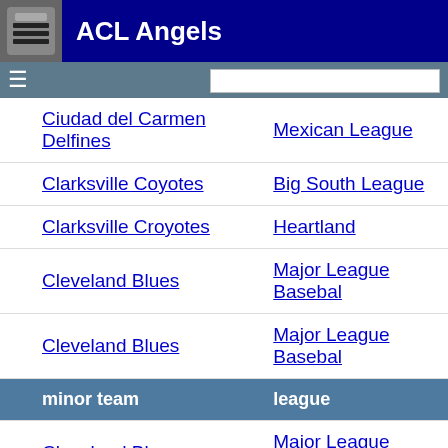ACL Angels
| minor team | league |
| --- | --- |
| Ciudad del Carmen Delfines | Mexican League |
| Clarksville Coyotes | Big South League |
| Clarksville Croyotes | Heartland |
| Cleveland Blues | Major League Baseball |
| Cleveland Blues | Major League Baseball |
| Cleveland Blues | Major League Baseball |
| Cleveland Bronchos | Major League Baseball |
| Cleveland Forest Citys | Major League Baseball |
| Cleveland Infants | Major League Baseball |
| Cleveland Naps | Major League Baseball |
| Cleveland Spiders | Major League Baseball |
| Coastal Bend Aviators | American Association |